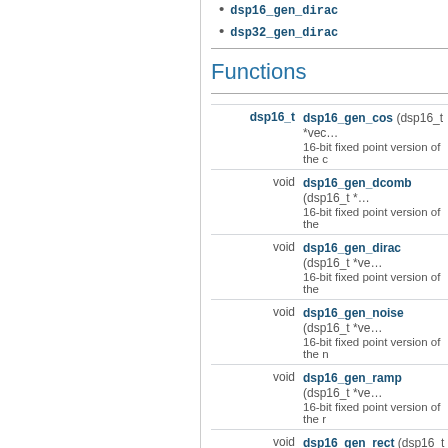dsp16_gen_dirac
dsp32_gen_dirac
Functions
| Return type | Function |
| --- | --- |
| dsp16_t | dsp16_gen_cos (dsp16_t *vec...
16-bit fixed point version of the c |
| void | dsp16_gen_dcomb (dsp16_t *...
16-bit fixed point version of the |
| void | dsp16_gen_dirac (dsp16_t *ve...
16-bit fixed point version of the |
| void | dsp16_gen_noise (dsp16_t *ve...
16-bit fixed point version of the n |
| void | dsp16_gen_ramp (dsp16_t *ve...
16-bit fixed point version of the r |
| void | dsp16_gen_rect (dsp16_t *vec...
16-bit fixed point version of the r |
| dsp16_t | dsp16_gen_saw (dsp16_t *vec...
16-bit fixed point version of the s |
| dsp16_t | dsp16_gen_sin (dsp16_t *vect...
16-bit fixed point version of the s |
| static void | dsp16_gen_sqr (dsp16_t *vec...
16-bit fixed point version of the s |
| void | dsp16_gen_step (dsp16_t *vec...
16-bit fixed point version of the |